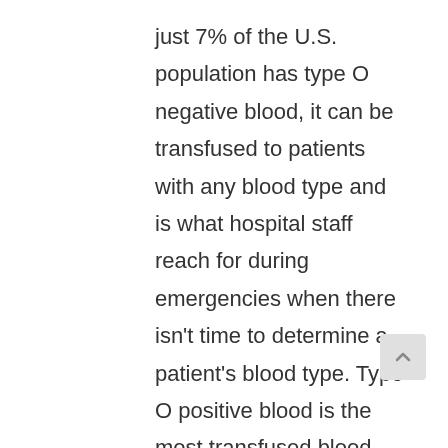just 7% of the U.S. population has type O negative blood, it can be transfused to patients with any blood type and is what hospital staff reach for during emergencies when there isn't time to determine a patient's blood type. Type O positive blood is the most transfused blood type and is also critical in trauma situations.
“All blood types are urgently needed, but we’re facing a critical shortage of type O blood – the blood group most needed by hospitals,” said Cliff Numark, senior vice president, Red Cross Blood Services. “Because it’s vitally important for hospitals to have type